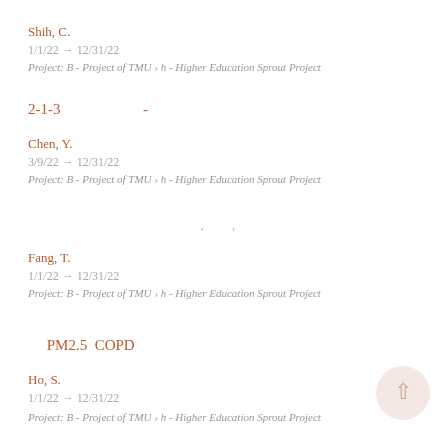Shih, C.
1/1/22 → 12/31/22
Project: B - Project of TMU › h - Higher Education Sprout Project
2-1-3                          -
Chen, Y.
3/9/22 → 12/31/22
Project: B - Project of TMU › h - Higher Education Sprout Project
' '
Fang, T.
1/1/22 → 12/31/22
Project: B - Project of TMU › h - Higher Education Sprout Project
PM2.5  COPD
Ho, S.
1/1/22 → 12/31/22
Project: B - Project of TMU › h - Higher Education Sprout Project